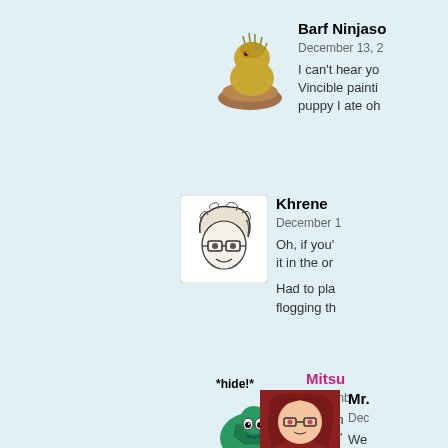[Figure (illustration): Iguana/lizard avatar for Barf Ninjaso]
Barf Ninjaso
December 13, 2...
I can't hear yo Vincible painti puppy I ate oh
[Figure (illustration): Sketch of a person with glasses avatar for Khrene]
Khrene
December 1...
Oh, if you' it in the or
Had to pla flogging th
[Figure (illustration): Green turtle avatar with *hide!* text for Mitsu]
Mitsu
Decemb...
And m Music'
[Figure (illustration): Anime girl with dark red hair avatar for Mr.]
Mr.
Dec...
We